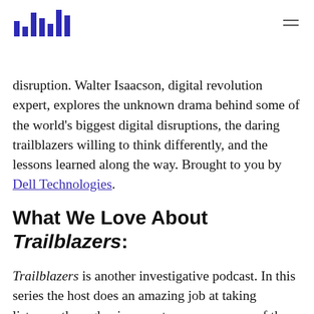[Logo] [Menu icon]
disruption. Walter Isaacson, digital revolution expert, explores the unknown drama behind some of the world's biggest digital disruptions, the daring trailblazers willing to think differently, and the lessons learned along the way. Brought to you by Dell Technologies.
What We Love About Trailblazers:
Trailblazers is another investigative podcast. In this series the host does an amazing job at taking listeners through a journey to uncover some of the challengers behind the digital disruptions that have